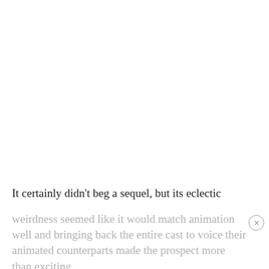It certainly didn't beg a sequel, but its eclectic weirdness seemed like it would match animation well and bringing back the entire cast to voice their animated counterparts made the prospect more than exciting.